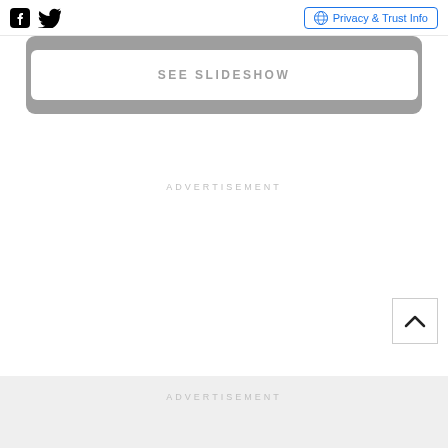Facebook icon, Twitter icon, Privacy & Trust Info
SEE SLIDESHOW
ADVERTISEMENT
[Figure (other): Back to top arrow button]
ADVERTISEMENT